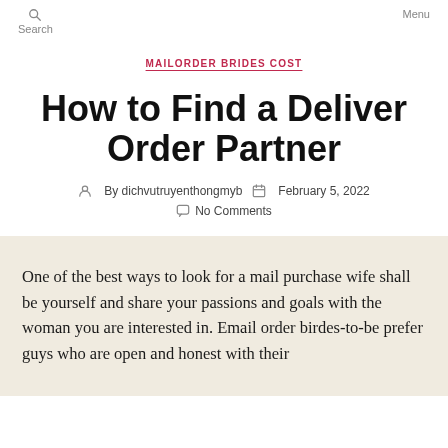Search   Menu
MAILORDER BRIDES COST
How to Find a Deliver Order Partner
By dichvutruyenthongmyb   February 5, 2022   No Comments
One of the best ways to look for a mail purchase wife shall be yourself and share your passions and goals with the woman you are interested in. Email order birdes-to-be prefer guys who are open and honest with their